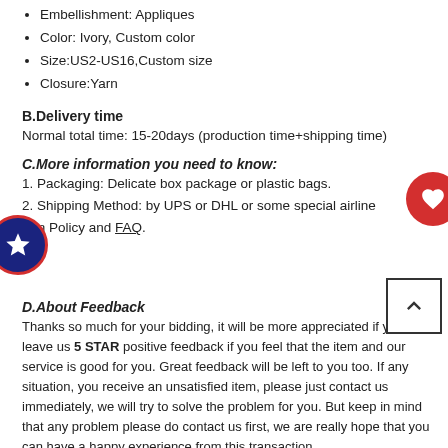Embellishment: Appliques
Color: Ivory, Custom color
Size:US2-US16,Custom size
Closure:Yarn
B.Delivery time
Normal total time: 15-20days (production time+shipping time)
C.More information you need to know:
1. Packaging: Delicate box package or plastic bags.
2. Shipping Method: by UPS or DHL or some special airline
turn Policy and FAQ.
D.About Feedback
Thanks so much for your bidding, it will be more appreciated if you can leave us 5 STAR positive feedback if you feel that the item and our service is good for you. Great feedback will be left to you too. If any situation, you receive an unsatisfied item, please just contact us immediately, we will try to solve the problem for you. But keep in mind that any problem please do contact us first, we are really hope that you can have a happy experience from this transaction.